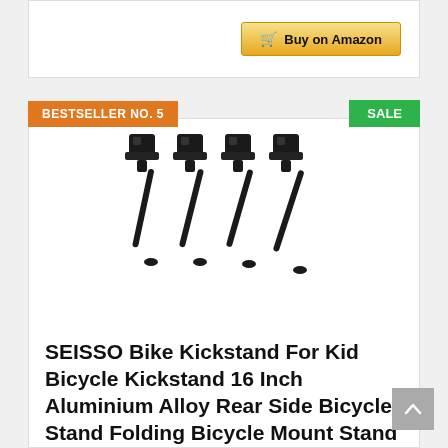[Figure (screenshot): Buy on Amazon button with shopping cart icon, gold/yellow gradient background]
BESTSELLER NO. 5
SALE
[Figure (photo): Four black aluminum bicycle kickstands arranged side by side, showing the clamp mechanism at top and folding leg at bottom]
SEISSO Bike Kickstand For Kid Bicycle Kickstand 16 Inch Aluminium Alloy Rear Side Bicycle Stand Folding Bicycle Mount Stand Support Kickstand For